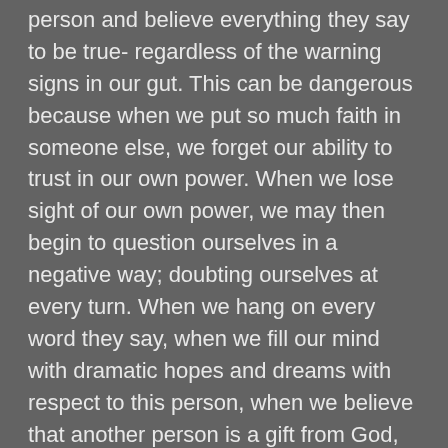person and believe everything they say to be true- regardless of the warning signs in our gut. This can be dangerous because when we put so much faith in someone else, we forget our ability to trust in our own power. When we lose sight of our own power, we may then begin to question ourselves in a negative way; doubting ourselves at every turn. When we hang on every word they say, when we fill our mind with dramatic hopes and dreams with respect to this person, when we believe that another person is a gift from God, an infallible miracle, we are bound to be disappointed. As we know, nobody is perfect. At the end of the day, the only credit that should be worth anything is your own self-credit. Because when we give others more credit than they deserve, we run the risk of feeling rejected, disappointed and let down. These are all examples of damaging personal power loss. It is important to give credit where credit is due, however it